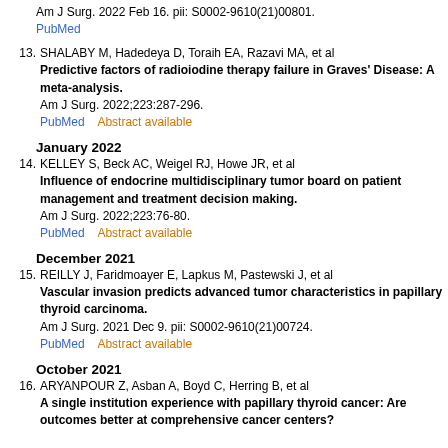Am J Surg. 2022 Feb 16. pii: S0002-9610(21)00801.
PubMed
13. SHALABY M, Hadedeya D, Toraih EA, Razavi MA, et al
Predictive factors of radioiodine therapy failure in Graves' Disease: A meta-analysis.
Am J Surg. 2022;223:287-296.
PubMed    Abstract available
January 2022
14. KELLEY S, Beck AC, Weigel RJ, Howe JR, et al
Influence of endocrine multidisciplinary tumor board on patient management and treatment decision making.
Am J Surg. 2022;223:76-80.
PubMed    Abstract available
December 2021
15. REILLY J, Faridmoayer E, Lapkus M, Pastewski J, et al
Vascular invasion predicts advanced tumor characteristics in papillary thyroid carcinoma.
Am J Surg. 2021 Dec 9. pii: S0002-9610(21)00724.
PubMed    Abstract available
October 2021
16. ARYANPOUR Z, Asban A, Boyd C, Herring B, et al
A single institution experience with papillary thyroid cancer: Are outcomes better at comprehensive cancer centers?